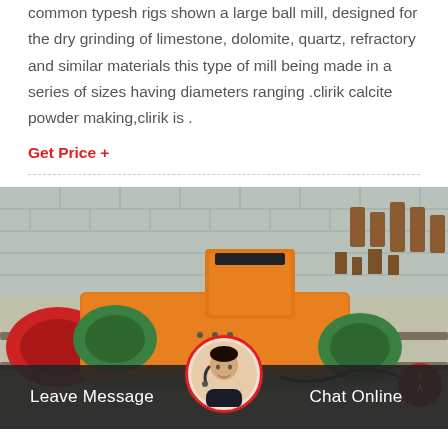common typesh rigs shown a large ball mill, designed for the dry grinding of limestone, dolomite, quartz, refractory and similar materials this type of mill being made in a series of sizes having diameters ranging .clirik calcite powder making,clirik is .
Get Price +
[Figure (photo): Industrial ball mill / grinding machine in orange color with green motor units, photographed outdoors on a concrete yard with grey brick wall background and various metal parts scattered around.]
Leave Message
Chat Online